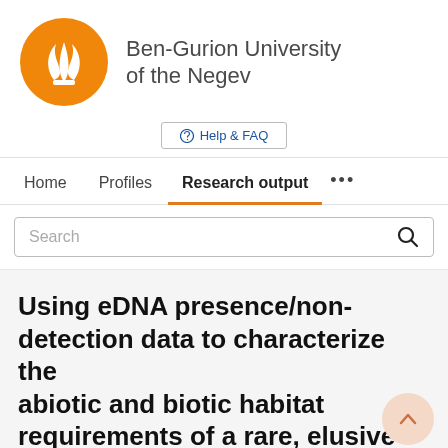[Figure (logo): Ben-Gurion University of the Negev logo: orange circle with white flame/candle symbol]
Ben-Gurion University of the Negev
Help & FAQ
Home   Profiles   Research output   ...
Search
Using eDNA presence/non-detection data to characterize the abiotic and biotic habitat requirements of a rare, elusive